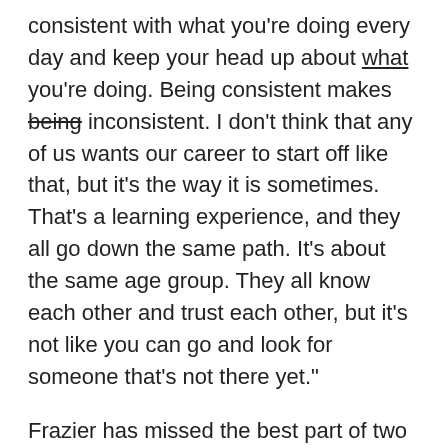consistent with what you're doing every day and keep your head up about what you're doing. Being consistent makes being inconsistent. I don't think that any of us wants our career to start off like that, but it's the way it is sometimes. That's a learning experience, and they all go down the same path. It's about the same age group. They all know each other and trust each other, but it's not like you can go and look for someone that's not there yet."
Frazier has missed the best part of two seasons following the surgery. That's all it took for his body to regain its strength from the neck injury. Frazier expects that process to take longer.
"If a doctor tells you he has a year to recover, and then you're not there by the third month, then it's not going to help you in recover." Frazier said "It's to go and it is in